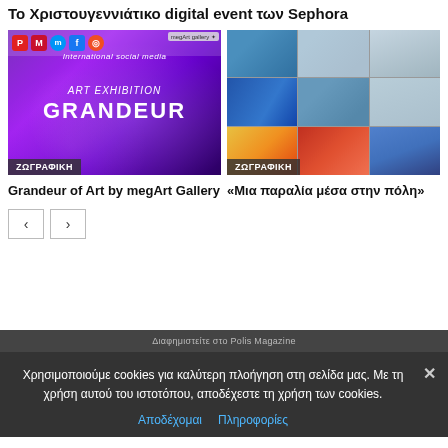Το Χριστουγεννιάτικο digital event των Sephora
[Figure (photo): Art exhibition promotional image with purple galaxy background, social media icons bar at top, text reading ART EXHIBITION GRANDEUR, with ΖΩΓΡΑΦΙΚΗ tag]
[Figure (photo): Mosaic grid of nine colorful paintings including seascapes, abstract works, with ΖΩΓΡΑΦΙΚΗ tag]
Grandeur of Art by megArt Gallery
«Μια παραλία μέσα στην πόλη»
Διαφημιστείτε στο Polis Magazine
Χρησιμοποιούμε cookies για καλύτερη πλοήγηση στη σελίδα μας. Με τη χρήση αυτού του ιστοτόπου, αποδέχεστε τη χρήση των cookies.
Αποδέχομαι   Πληροφορίες